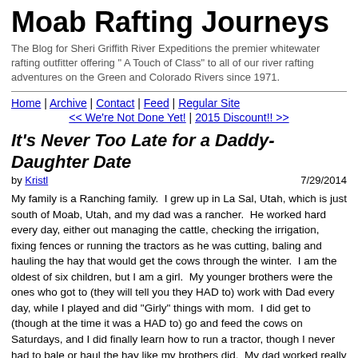Moab Rafting Journeys
The Blog for Sheri Griffith River Expeditions the premier whitewater rafting outfitter offering " A Touch of Class" to all of our river rafting adventures on the Green and Colorado Rivers since 1971.
Home | Archive | Contact | Feed | Regular Site
<< We're Not Done Yet! | 2015 Discount!! >>
It's Never Too Late for a Daddy-Daughter Date
by Kristl  7/29/2014
My family is a Ranching family.  I grew up in La Sal, Utah, which is just south of Moab, Utah, and my dad was a rancher.  He worked hard every day, either out managing the cattle, checking the irrigation, fixing fences or running the tractors as he was cutting, baling and hauling the hay that would get the cows through the winter.  I am the oldest of six children, but I am a girl.  My younger brothers were the ones who got to (they will tell you they HAD to) work with Dad every day, while I played and did "Girly" things with mom.  I did get to (though at the time it was a HAD to) go and feed the cows on Saturdays, and I did finally learn how to run a tractor, though I never had to bale or haul the hay like my brothers did.  My dad worked really hard to provide for our family, and even though my brothers were able to work with him a lot, my sisters and I didn't really have that